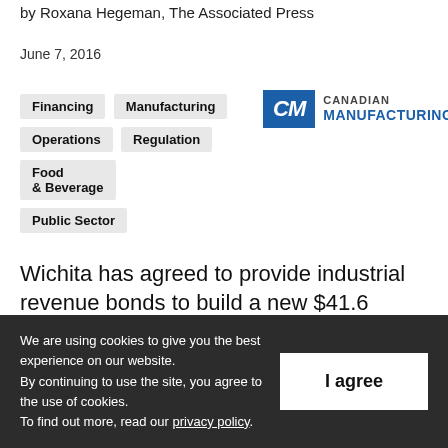by Roxana Hegeman, The Associated Press
June 7, 2016
Financing
Manufacturing
Operations
Regulation
Food & Beverage
Public Sector
[Figure (logo): Canadian Manufacturing logo with CM initials in blue square and text 'CANADIAN MANUFACTURING']
Wichita has agreed to provide industrial revenue bonds to build a new $41.6 million
We are using cookies to give you the best experience on our website.
By continuing to use the site, you agree to the use of cookies.
To find out more, read our privacy policy.